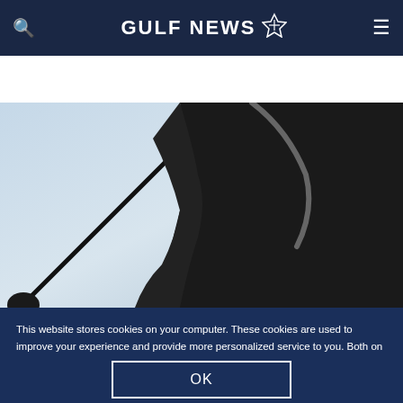GULF NEWS
LOOK: The Race to Dubai con...
[Figure (photo): Silhouette of a golfer mid-swing, holding a club, wearing dark clothing, against a light sky background]
This website stores cookies on your computer. These cookies are used to improve your experience and provide more personalized service to you. Both on your website and other media. To find out more about the cookies and data we use, please check out our Privacy Policy.
OK